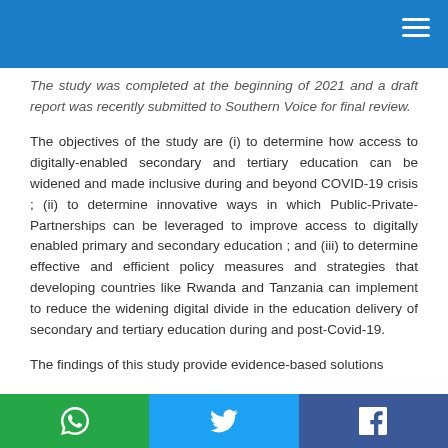The study was completed at the beginning of 2021 and a draft report was recently submitted to Southern Voice for final review.
The objectives of the study are (i) to determine how access to digitally-enabled secondary and tertiary education can be widened and made inclusive during and beyond COVID-19 crisis ; (ii) to determine innovative ways in which Public-Private-Partnerships can be leveraged to improve access to digitally enabled primary and secondary education ; and (iii) to determine effective and efficient policy measures and strategies that developing countries like Rwanda and Tanzania can implement to reduce the widening digital divide in the education delivery of secondary and tertiary education during and post-Covid-19.
The findings of this study provide evidence-based solutions
Social share footer with WhatsApp, Twitter, Facebook icons